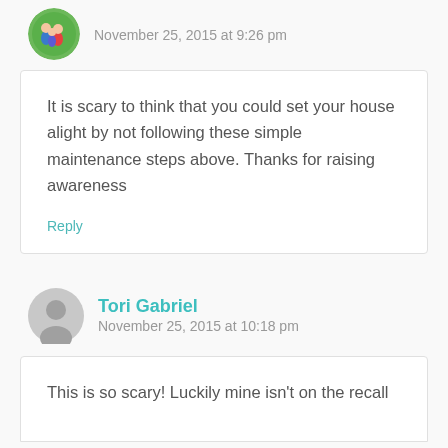November 25, 2015 at 9:26 pm
It is scary to think that you could set your house alight by not following these simple maintenance steps above. Thanks for raising awareness
Reply
Tori Gabriel
November 25, 2015 at 10:18 pm
This is so scary! Luckily mine isn't on the recall